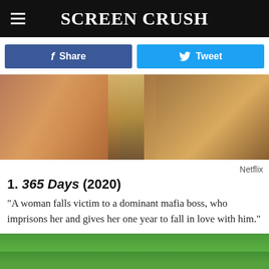Screen Crush
Share | Tweet
[Figure (photo): Close-up film still showing faces in warm tones, likely from 365 Days (2020)]
Netflix
1. 365 Days (2020)
“A woman falls victim to a dominant mafia boss, who imprisons her and gives her one year to fall in love with him.”
[Figure (photo): Outdoor jungle/nature scene from a Netflix film, showing green foliage and figures]